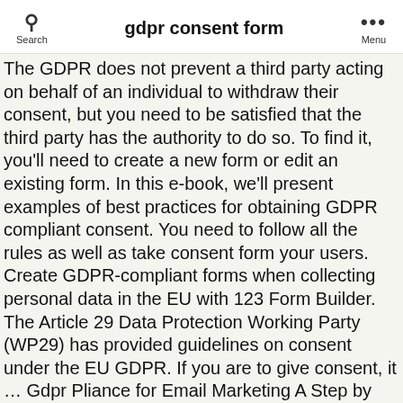gdpr consent form
The GDPR does not prevent a third party acting on behalf of an individual to withdraw their consent, but you need to be satisfied that the third party has the authority to do so. To find it, you'll need to create a new form or edit an existing form. In this e-book, we'll present examples of best practices for obtaining GDPR compliant consent. You need to follow all the rules as well as take consent form your users. Create GDPR-compliant forms when collecting personal data in the EU with 123 Form Builder. The Article 29 Data Protection Working Party (WP29) has provided guidelines on consent under the EU GDPR. If you are to give consent, it … Gdpr Pliance for Email Marketing A Step by Step Guide. Providing consent The Company is committed to complying with the GDPR with regard to processing your data. Under the GDPR consent can't be bundled with any other agreement, can't be a condition of a service and consent opt-in boxes can't be pre-ticked." This has big implications for email list growth